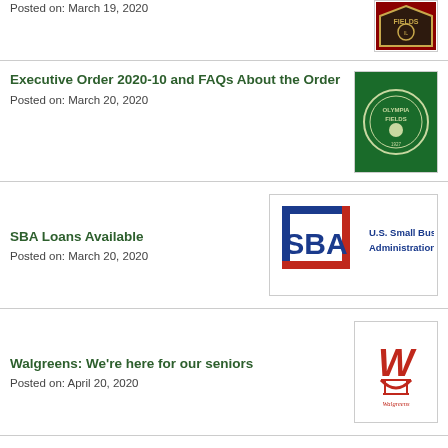Posted on: March 19, 2020
[Figure (logo): Olympia Fields village seal/logo on dark shield background]
Executive Order 2020-10 and FAQs About the Order
Posted on: March 20, 2020
[Figure (logo): Olympia Fields green circular logo on green background]
SBA Loans Available
Posted on: March 20, 2020
[Figure (logo): U.S. Small Business Administration (SBA) logo]
Walgreens: We're here for our seniors
Posted on: April 20, 2020
[Figure (logo): Walgreens red logo with pharmacy mortar icon]
Search
All categories